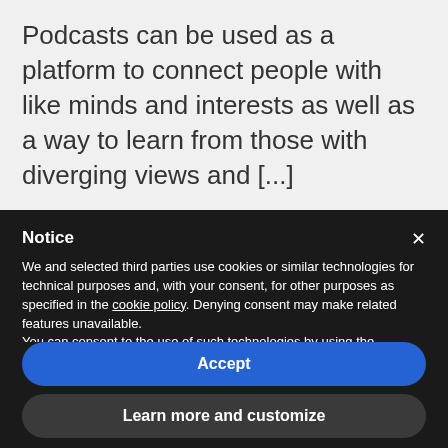Podcasts can be used as a platform to connect people with like minds and interests as well as a way to learn from those with diverging views and [...]
Notice
We and selected third parties use cookies or similar technologies for technical purposes and, with your consent, for other purposes as specified in the cookie policy. Denying consent may make related features unavailable.
You can consent to the use of such technologies by using the “Accept” button, by closing this notice, by scrolling this page, by interacting with any link or button outside of this notice or by continuing to browse otherwise.
Accept
Learn more and customize